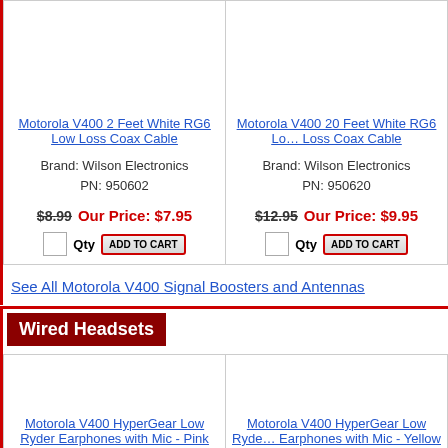Motorola V400 2 Feet White RG6 Low Loss Coax Cable
Brand: Wilson Electronics
PN: 950602
$8.99  Our Price: $7.95
Motorola V400 20 Feet White RG6 Low Loss Coax Cable
Brand: Wilson Electronics
PN: 950620
$12.95  Our Price: $9.95
See All Motorola V400 Signal Boosters and Antennas
Wired Headsets
Motorola V400 HyperGear Low Ryder Earphones with Mic - Pink and Black
Motorola V400 HyperGear Low Ryder Earphones with Mic - Yellow and Gray